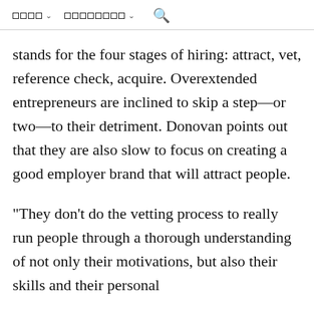navigation bar with menu items and search icon
stands for the four stages of hiring: attract, vet, reference check, acquire. Overextended entrepreneurs are inclined to skip a step—or two—to their detriment. Donovan points out that they are also slow to focus on creating a good employer brand that will attract people.
"They don't do the vetting process to really run people through a thorough understanding of not only their motivations, but also their skills and their personal